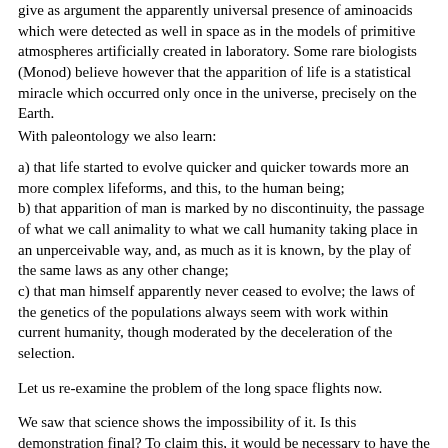give as argument the apparently universal presence of aminoacids which were detected as well in space as in the models of primitive atmospheres artificially created in laboratory. Some rare biologists (Monod) believe however that the apparition of life is a statistical miracle which occurred only once in the universe, precisely on the Earth.
With paleontology we also learn:
a) that life started to evolve quicker and quicker towards more an more complex lifeforms, and this, to the human being;
b) that apparition of man is marked by no discontinuity, the passage of what we call animality to what we call humanity taking place in an unperceivable way, and, as much as it is known, by the play of the same laws as any other change;
c) that man himself apparently never ceased to evolve; the laws of the genetics of the populations always seem with work within current humanity, though moderated by the deceleration of the selection.
Let us re-examine the problem of the long space flights now.
We saw that science shows the impossibility of it. Is this demonstration final? To claim this, it would be necessary to have the certainty that the relativistic framework from where it rises determines the ultimate limits of any reality.